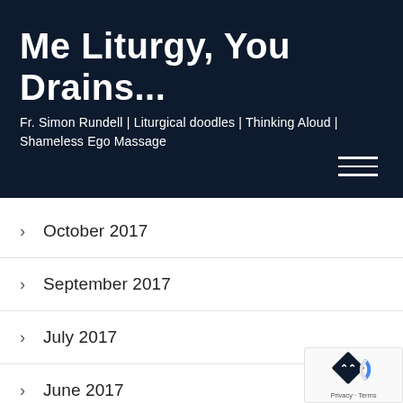Me Liturgy, You Drains...
Fr. Simon Rundell | Liturgical doodles | Thinking Aloud | Shameless Ego Massage
October 2017
September 2017
July 2017
June 2017
May 2017